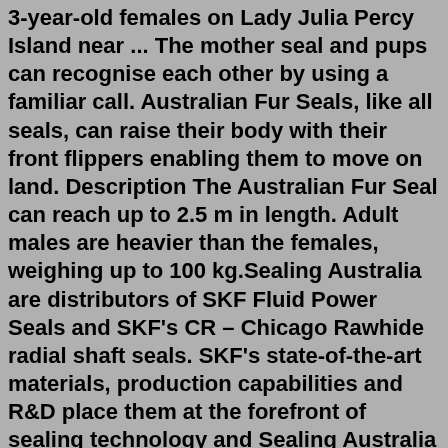3-year-old females on Lady Julia Percy Island near ... The mother seal and pups can recognise each other by using a familiar call. Australian Fur Seals, like all seals, can raise their body with their front flippers enabling them to move on land. Description The Australian Fur Seal can reach up to 2.5 m in length. Adult males are heavier than the females, weighing up to 100 kg.Sealing Australia are distributors of SKF Fluid Power Seals and SKF's CR – Chicago Rawhide radial shaft seals. SKF's state-of-the-art materials, production capabilities and R&D place them at the forefront of sealing technology and Sealing Australia are proud to have them on board. Under the EPBC Act all seals and sea lions occurring within Australian waters are listed as marine species ( EPBC Act 1999; section 248). It is an offence to kill, injure, take, trade, keep, or move any member of a listed marine species on Australian Government land or in Commonwealth waters without a permit. Where these animals occur in state ... Sealing Australia is your one-stop-shop for all your seal requirements. We work closely with seal